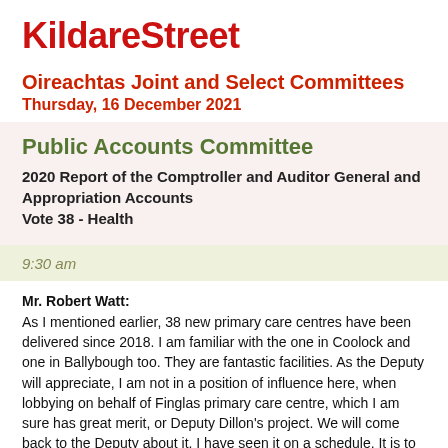KildareStreet
Oireachtas Joint and Select Committees
Thursday, 16 December 2021
Public Accounts Committee
2020 Report of the Comptroller and Auditor General and Appropriation Accounts
Vote 38 - Health
9:30 am
Mr. Robert Watt: As I mentioned earlier, 38 new primary care centres have been delivered since 2018. I am familiar with the one in Coolock and one in Ballybough too. They are fantastic facilities. As the Deputy will appreciate, I am not in a position of influence here, when lobbying on behalf of Finglas primary care centre, which I am sure has great merit, or Deputy Dillon's project. We will come back to the Deputy about it. I have seen it on a schedule. It is to be hoped we can get it up and running. It is critical to have the infrastructure to provide a proper space for the different teams I